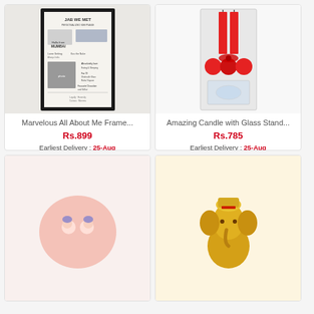[Figure (photo): Framed 'All About Me' personalized photo frame with movie-style design, black frame, photos and text on white background]
Marvelous All About Me Frame...
Rs.899
Earliest Delivery : 25-Aug
Shop Now
[Figure (photo): Red candles with glass stand set in clear box packaging tied with red ribbon]
Amazing Candle with Glass Stand...
Rs.785
Earliest Delivery : 25-Aug
Shop Now
[Figure (photo): Pink snow globe with cute couple figurines inside]
[Figure (photo): Golden Ganesha idol figurine]